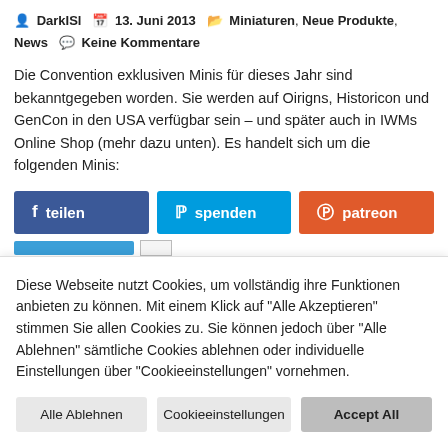DarkISl  13. Juni 2013  Miniaturen, Neue Produkte, News  Keine Kommentare
Die Convention exklusiven Minis für dieses Jahr sind bekanntgegeben worden. Sie werden auf Oirigns, Historicon und GenCon in den USA verfügbar sein – und später auch in IWMs Online Shop (mehr dazu unten). Es handelt sich um die folgenden Minis:
[Figure (infographic): Three social sharing buttons: Facebook 'teilen' (blue), PayPal 'spenden' (light blue), Patreon 'patreon' (orange-red). Below them a partial blue progress bar and a small white square.]
Diese Webseite nutzt Cookies, um vollständig ihre Funktionen anbieten zu können. Mit einem Klick auf "Alle Akzeptieren" stimmen Sie allen Cookies zu. Sie können jedoch über "Alle Ablehnen" sämtliche Cookies ablehnen oder individuelle Einstellungen über "Cookieeinstellungen" vornehmen.